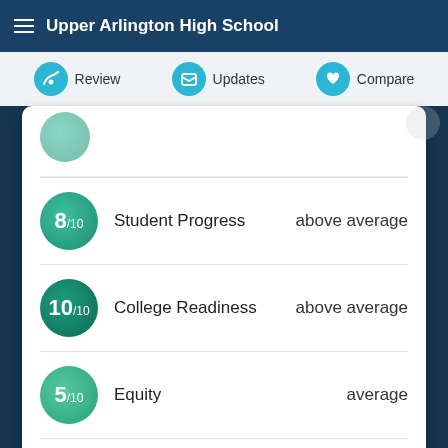Upper Arlington High School
Review | Updates | Compare
8/10 Student Progress above average
10/10 College Readiness above average
5/10 Equity average
Last updated: Jul 07, 2022